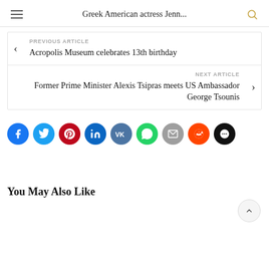Greek American actress Jenn...
PREVIOUS ARTICLE
Acropolis Museum celebrates 13th birthday
NEXT ARTICLE
Former Prime Minister Alexis Tsipras meets US Ambassador George Tsounis
[Figure (infographic): Row of social sharing buttons: Facebook, Twitter, Pinterest, LinkedIn, VK, WhatsApp, Email, Reddit, and a messaging icon]
You May Also Like